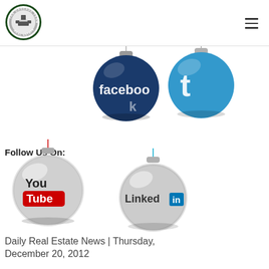[Figure (logo): The Cascade Team Real Estate circular logo with green border and house/key icon]
[Figure (illustration): Social media Christmas ornaments: Facebook (dark blue ornament), Twitter (light blue ornament), YouTube (silver ornament), LinkedIn (silver ornament)]
Follow Us On:
Daily Real Estate News | Thursday, December 20, 2012